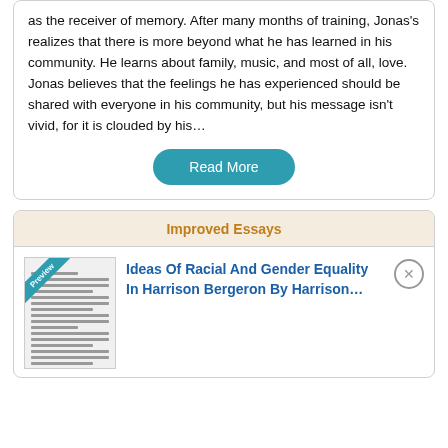as the receiver of memory. After many months of training, Jonas's realizes that there is more beyond what he has learned in his community. He learns about family, music, and most of all, love. Jonas believes that the feelings he has experienced should be shared with everyone in his community, but his message isn't vivid, for it is clouded by his…
Read More
Improved Essays
Ideas Of Racial And Gender Equality In Harrison Bergeron By Harrison…